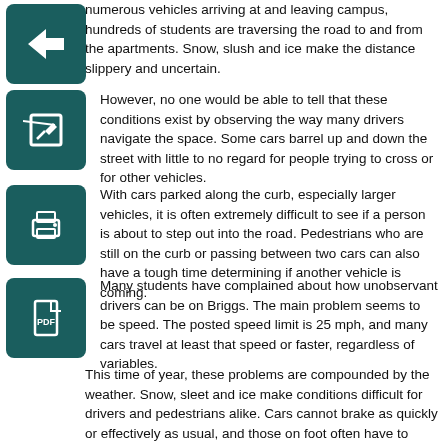numerous vehicles arriving at and leaving campus, hundreds of students are traversing the road to and from the apartments. Snow, slush and ice make the distance slippery and uncertain.
[Figure (illustration): Dark teal square icon with a left-pointing arrow]
However, no one would be able to tell that these conditions exist by observing the way many drivers navigate the space. Some cars barrel up and down the street with little to no regard for people trying to cross or for other vehicles.
[Figure (illustration): Dark teal square icon with a pencil/edit symbol]
[Figure (illustration): Dark teal square icon with a printer symbol]
With cars parked along the curb, especially larger vehicles, it is often extremely difficult to see if a person is about to step out into the road. Pedestrians who are still on the curb or passing between two cars can also have a tough time determining if another vehicle is coming.
[Figure (illustration): Dark teal square icon with a PDF/document symbol]
Many students have complained about how unobservant drivers can be on Briggs. The main problem seems to be speed. The posted speed limit is 25 mph, and many cars travel at least that speed or faster, regardless of variables.
This time of year, these problems are compounded by the weather. Snow, sleet and ice make conditions difficult for drivers and pedestrians alike. Cars cannot brake as quickly or effectively as usual, and those on foot often have to move much slower and with more caution to avoid a slip.